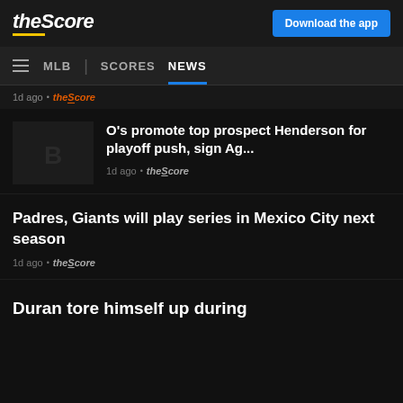theScore | Download the app
MLB | SCORES  NEWS
1d ago • theScore
O's promote top prospect Henderson for playoff push, sign Ag...
1d ago • theScore
Padres, Giants will play series in Mexico City next season
1d ago • theScore
Duran tore himself up during